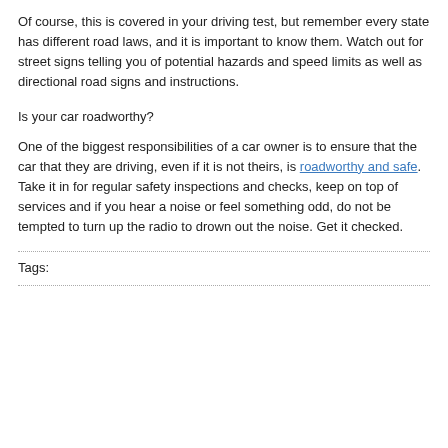Of course, this is covered in your driving test, but remember every state has different road laws, and it is important to know them. Watch out for street signs telling you of potential hazards and speed limits as well as directional road signs and instructions.
Is your car roadworthy?
One of the biggest responsibilities of a car owner is to ensure that the car that they are driving, even if it is not theirs, is roadworthy and safe. Take it in for regular safety inspections and checks, keep on top of services and if you hear a noise or feel something odd, do not be tempted to turn up the radio to drown out the noise. Get it checked.
Tags: